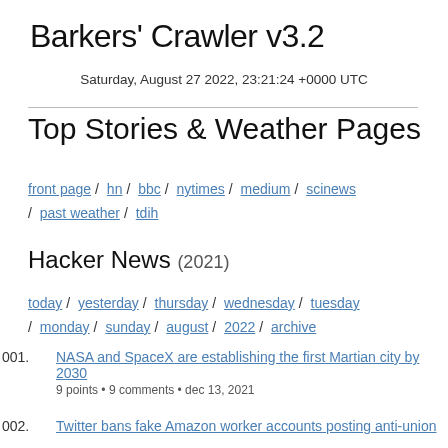Barkers' Crawler v3.2
Saturday, August 27 2022, 23:21:24 +0000 UTC
Top Stories & Weather Pages
front page / hn / bbc / nytimes / medium / scinews / past weather / tdih
Hacker News (2021)
today / yesterday / thursday / wednesday / tuesday / monday / sunday / august / 2022 / archive
001. NASA and SpaceX are establishing the first Martian city by 2030
9 points • 9 comments • dec 13, 2021
002. Twitter bans fake Amazon worker accounts posting anti-union